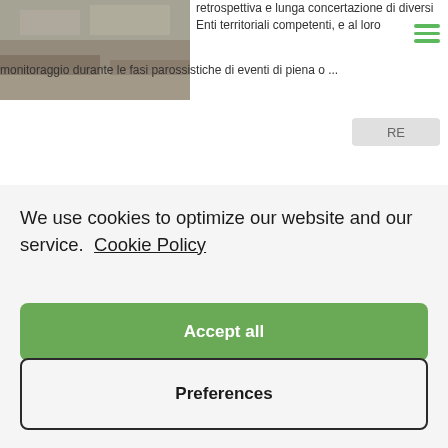[Figure (photo): Partially visible nature/landscape photo in top-left corner]
retrospettiva e lunga concertazione di diversi Enti territoriali competenti, e al loro monitoraggio durante le fasi parossistiche di eventi di piena o ...
We use cookies to optimize our website and our service.  Cookie Policy
Accept all
Dismiss
Preferences